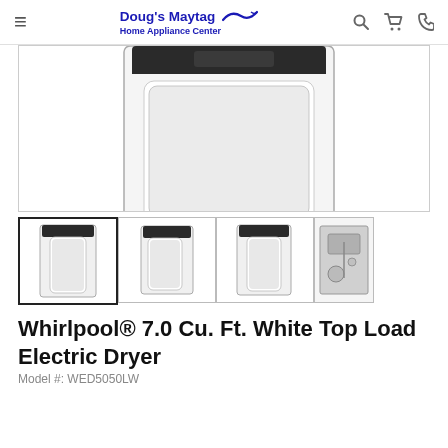Doug's Maytag Home Appliance Center
[Figure (photo): Main large product photo showing top portion of a white top-load electric dryer, cropped view showing the top panel and door area against white background]
[Figure (photo): Thumbnail 1 (selected/active border): White top-load electric dryer, front view]
[Figure (photo): Thumbnail 2: White top-load electric dryer, slight angle view]
[Figure (photo): Thumbnail 3: White top-load electric dryer, front view similar angle]
[Figure (photo): Thumbnail 4: Rear/back panel view of the dryer showing connections]
Whirlpool® 7.0 Cu. Ft. White Top Load Electric Dryer
Model #: WED5050LW